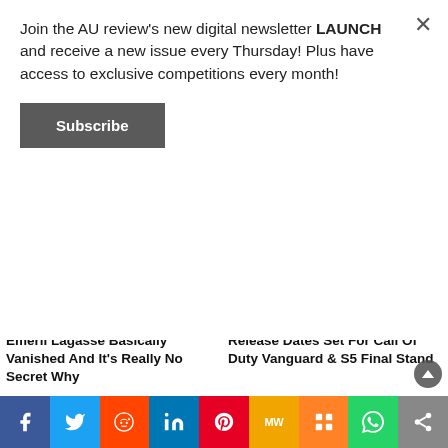Join the AU review's new digital newsletter LAUNCH and receive a new issue every Thursday! Plus have access to exclusive competitions every month!
Subscribe
Emeril Lagasse Basically Vanished And It’s Really No Secret Why
Release Dates Set For Call Of Duty Vanguard & S5 Final Stand
[Figure (photo): Close-up photo of a man with headphones]
[Figure (photo): Portrait photo of a young boy]
[Figure (infographic): Social media sharing bar with Facebook, Twitter, Reddit, LinkedIn, Pinterest, MW, Mix, WhatsApp, and share icons]